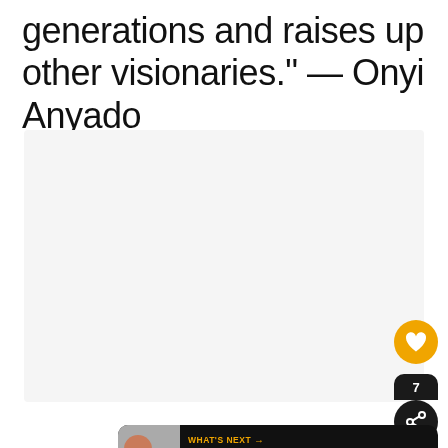generations and raises up other visionaries." — Onyi Anyado
[Figure (other): Light gray content area placeholder with three gray dots indicating image carousel]
[Figure (infographic): UI overlay elements: orange heart/like button, dark share button with count 7, and What's Next panel showing 'Perfection Quotes to...']